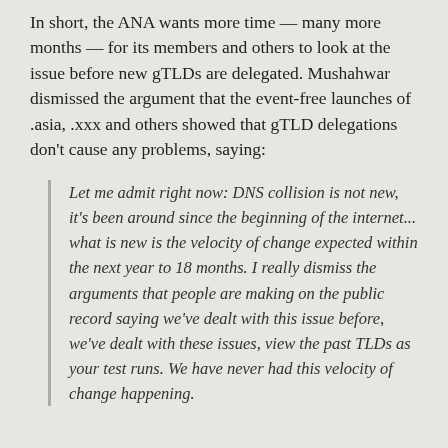In short, the ANA wants more time — many more months — for its members and others to look at the issue before new gTLDs are delegated. Mushahwar dismissed the argument that the event-free launches of .asia, .xxx and others showed that gTLD delegations don't cause any problems, saying:
Let me admit right now: DNS collision is not new, it's been around since the beginning of the internet... what is new is the velocity of change expected within the next year to 18 months. I really dismiss the arguments that people are making on the public record saying we've dealt with this issue before, we've dealt with these issues, view the past TLDs as your test runs. We have never had this velocity of change happening.